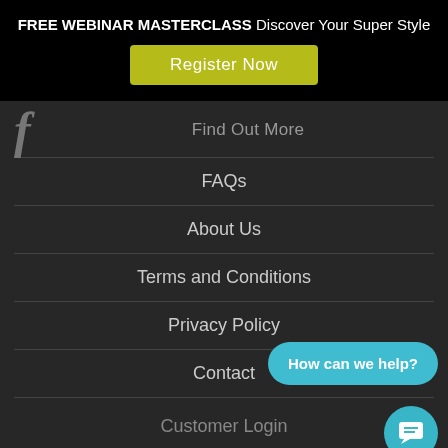FREE WEBINAR MASTERCLASS Discover Your Super Style
Register Now
Find Out More
FAQs
About Us
Terms and Conditions
Privacy Policy
Contact
Customer Login
Login to download your report
How can we help?